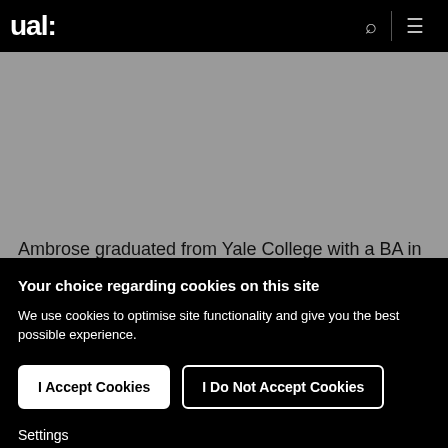ual:
[Figure (photo): Grey background image area, partially visible behind cookie consent overlay]
Ambrose graduated from Yale College with a BA in
Your choice regarding cookies on this site
We use cookies to optimise site functionality and give you the best possible experience.
I Accept Cookies
I Do Not Accept Cookies
Settings